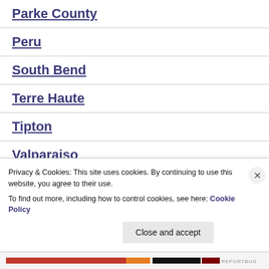Parke County
Peru
South Bend
Terre Haute
Tipton
Valparaiso
Privacy & Cookies: This site uses cookies. By continuing to use this website, you agree to their use. To find out more, including how to control cookies, see here: Cookie Policy
Close and accept